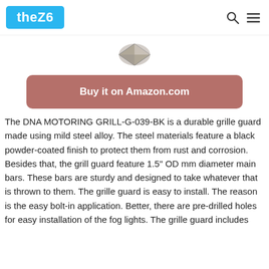theZ6
[Figure (photo): Small product thumbnail image of a metallic grill guard component]
Buy it on Amazon.com
The DNA MOTORING GRILL-G-039-BK is a durable grille guard made using mild steel alloy. The steel materials feature a black powder-coated finish to protect them from rust and corrosion. Besides that, the grill guard feature 1.5" OD mm diameter main bars. These bars are sturdy and designed to take whatever that is thrown to them. The grille guard is easy to install. The reason is the easy bolt-in application. Better, there are pre-drilled holes for easy installation of the fog lights. The grille guard includes